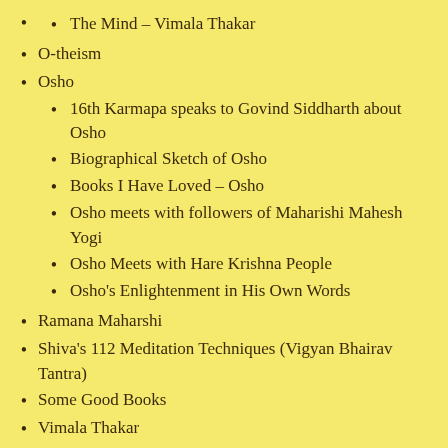The Mind – Vimala Thakar
O-theism
Osho
16th Karmapa speaks to Govind Siddharth about Osho
Biographical Sketch of Osho
Books I Have Loved – Osho
Osho meets with followers of Maharishi Mahesh Yogi
Osho Meets with Hare Krishna People
Osho's Enlightenment in His Own Words
Ramana Maharshi
Shiva's 112 Meditation Techniques (Vigyan Bhairav Tantra)
Some Good Books
Vimala Thakar